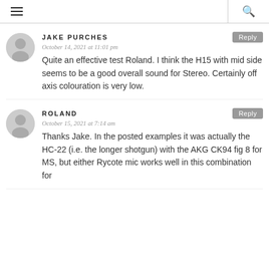☰  🔍
JAKE PURCHES
October 14, 2021 at 11:01 pm
Quite an effective test Roland. I think the H15 with mid side seems to be a good overall sound for Stereo. Certainly off axis colouration is very low.
ROLAND
October 15, 2021 at 7:14 am
Thanks Jake. In the posted examples it was actually the HC-22 (i.e. the longer shotgun) with the AKG CK94 fig 8 for MS, but either Rycote mic works well in this combination for